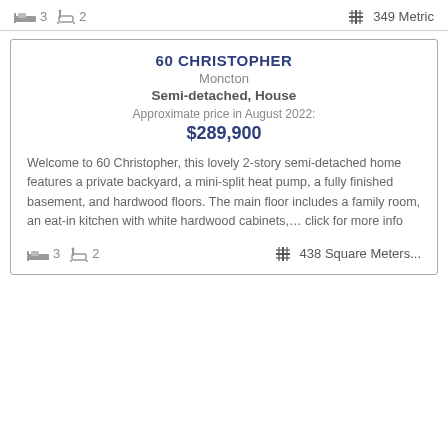🛏 3  🛁 2    ✛ 349 Metric
60 CHRISTOPHER
Moncton
Semi-detached, House
Approximate price in August 2022:
$289,900
Welcome to 60 Christopher, this lovely 2-story semi-detached home features a private backyard, a mini-split heat pump, a fully finished basement, and hardwood floors. The main floor includes a family room, an eat-in kitchen with white hardwood cabinets,… click for more info
🛏 3  🛁 2    ✛ 438 Square Meters...